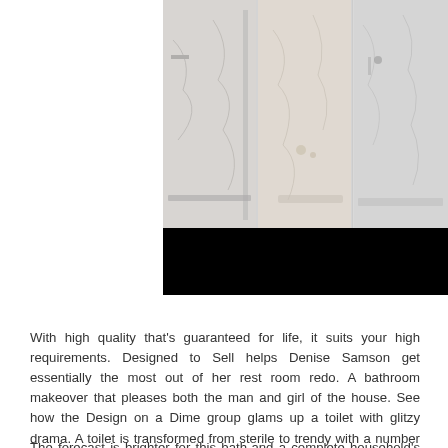[Figure (photo): Three shower stall panels side by side showing marble/stone shower enclosures with glass doors, followed by a black redacted bar beneath the photos.]
With high quality that's guaranteed for life, it suits your high requirements. Designed to Sell helps Denise Samson get essentially the most out of her rest room redo. A bathroom makeover that pleases both the man and girl of the house. See how the Design on a Dime group glams up a toilet with glitzy drama. A toilet is transformed from sterile to trendy with a number of inspired colors.
The forecast is brighter for this bath-and a complete household's morning routine-now that a practical, high-type shower has moved in. Enjoy your new bathe with up to date equipment like shower heads and multi-function hand bathe. With a big choice of choices and equipment, you